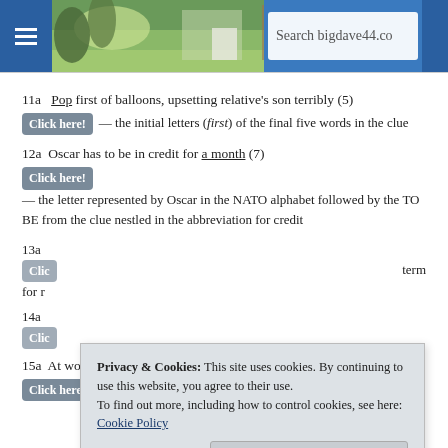[Figure (screenshot): Website header banner with hamburger menu, landscape photo background, and search box reading 'Search bigdave44.co']
11a   Pop first of balloons, upsetting relative's son terribly (5)
Click here! — the initial letters (first) of the final five words in the clue
12a   Oscar has to be in credit for a month (7)
Click here! — the letter represented by Oscar in the NATO alphabet followed by the TO BE from the clue nestled in the abbreviation for credit
13a
Clic
for r
term
14a
Clic
[Figure (screenshot): Cookie consent popup overlay: 'Privacy & Cookies: This site uses cookies. By continuing to use this website, you agree to their use. To find out more, including how to control cookies, see here: Cookie Policy' with a 'Close and accept' button]
15a   At work, actor's union reveals unfairness (8)
Click here! — a short word for at work (or at home) and the name of the...